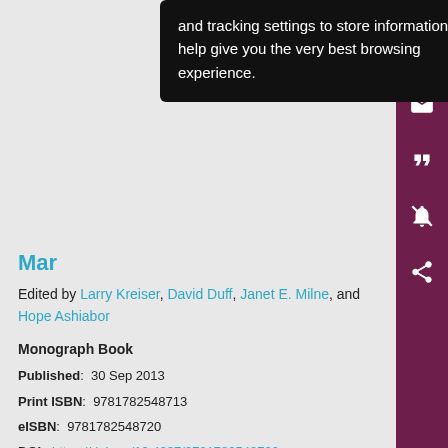This site uses cookies, tags, and tracking settings to store information that help give you the very best browsing experience.
Mar...
Edited by Larry Kreiser, David Duff, Janet E. Milne, and Hope Ashiabor
Monograph Book
Published: 30 Sep 2013
Print ISBN: 9781782548713
eISBN: 9781782548720
DOI: https://doi.org/10.4337/9781782548720
Pages: 224
Collection: Law 2013